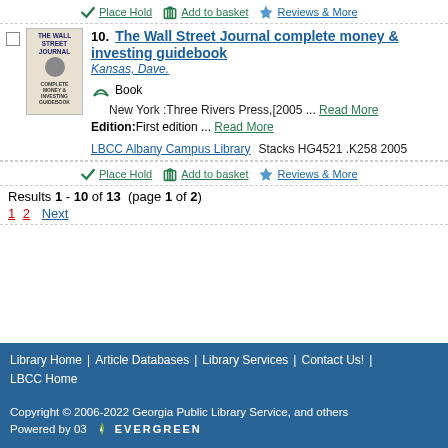Place Hold | Add to basket | Reviews & More
10. The Wall Street Journal complete money & investing guidebook
Kansas, Dave.
Book
New York :Three Rivers Press,[2005 ... Read More
Edition: First edition ... Read More
LBCC Albany Campus Library   Stacks HG4521 .K258 2005
Place Hold | Add to basket | Reviews & More
Results 1 - 10 of 13  (page 1 of 2)
1 2 Next
Library Home | Article Databases | Library Services | Contact Us! | LBCC Home
Copyright © 2006-2022 Georgia Public Library Service, and others
Powered by 03 EVERGREEN